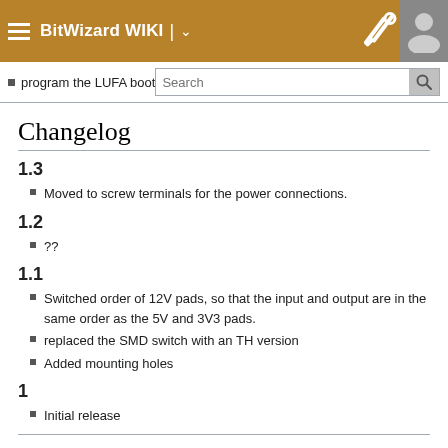BitWizard WIKI
program the LUFA boot[loader]
Changelog
1.3
Moved to screw terminals for the power connections.
1.2
??
1.1
Switched order of 12V pads, so that the input and output are in the same order as the 5V and 3V3 pads.
replaced the SMD switch with an TH version
Added mounting holes
1
Initial release